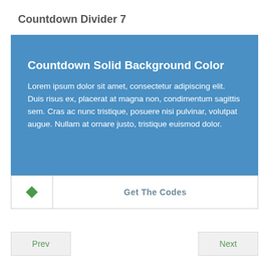Countdown Divider 7
[Figure (screenshot): Blue card with title 'Countdown Solid Background Color', lorem ipsum body text, and a 'Get The Codes' button bar at the bottom with a green diamond icon.]
Prev
Next